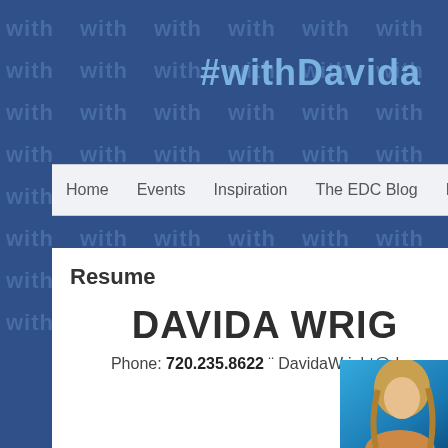[Figure (screenshot): Blue background banner with repeated watermark text 'with' in lighter blue, and '#withDavida' hashtag in bold light blue text in upper right area]
#withDavida
Home   Events   Inspiration   The EDC Blog   Fitness &
Resume
DAVIDA WRIG
Phone: 720.235.8622 ¨ DavidaWright@d
[Figure (photo): Partial photo of a woman with blonde hair against a blue background, cropped at right edge]